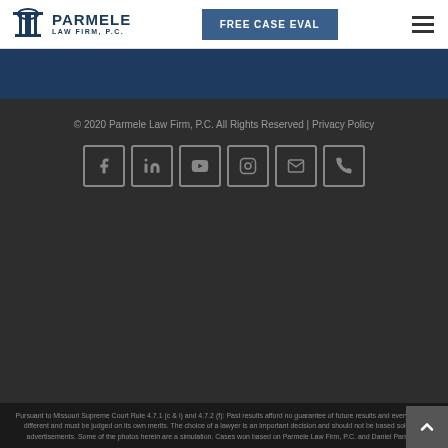Parmele Law Firm, P.C. — FREE CASE EVAL
[Figure (logo): Parmele Law Firm, P.C. logo with column icon]
© 2020 Parmele Law Firm, P.C. All Rights Reserved | Privacy Policy
[Figure (illustration): Social media icons: Facebook, LinkedIn, YouTube, Instagram, Email, Phone]
Pursuant to Missouri Supreme Court Rule 4.7.1 (c & i) and 4.7.2 (f): Past results afford no guarantee of future results and every case is different and must be judged on its own merits. The choice of a lawyer is an important decision and should not be based solely on advertisements. Some of the photos herein are a simulation. Cases won based on Parmele Law Firm, P.C. and Daniel Parmele.